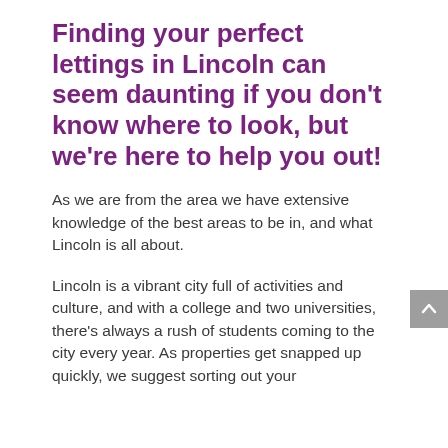Finding your perfect lettings in Lincoln can seem daunting if you don't know where to look, but we're here to help you out!
As we are from the area we have extensive knowledge of the best areas to be in, and what Lincoln is all about.
Lincoln is a vibrant city full of activities and culture, and with a college and two universities, there's always a rush of students coming to the city every year. As properties get snapped up quickly, we suggest sorting out your